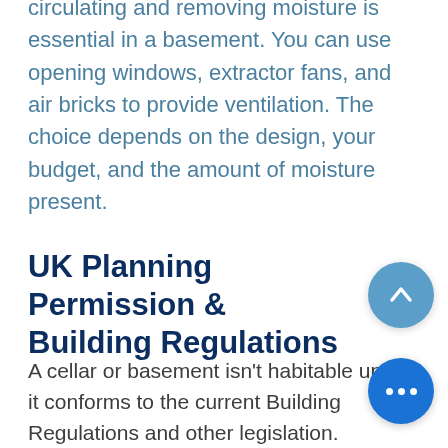circulating and removing moisture is essential in a basement. You can use opening windows, extractor fans, and air bricks to provide ventilation. The choice depends on the design, your budget, and the amount of moisture present.
UK Planning Permission & Building Regulations
A cellar or basement isn't habitable unless it conforms to the current Building Regulations and other legislation. Therefore, comply with the following legislation.